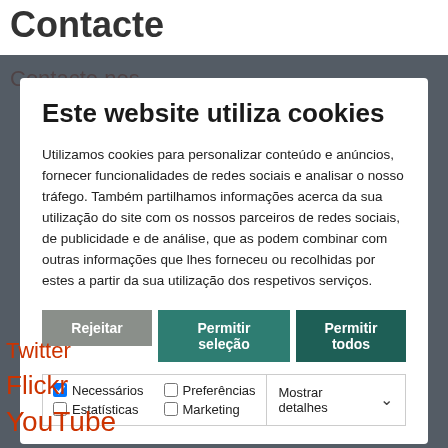Contacte
Contacte nos
Este website utiliza cookies
Utilizamos cookies para personalizar conteúdo e anúncios, fornecer funcionalidades de redes sociais e analisar o nosso tráfego. Também partilhamos informações acerca da sua utilização do site com os nossos parceiros de redes sociais, de publicidade e de análise, que as podem combinar com outras informações que lhes forneceu ou recolhidas por estes a partir da sua utilização dos respetivos serviços.
Rejeitar
Permitir seleção
Permitir todos
Necessários  Preferências  Estatísticas  Marketing  Mostrar detalhes
Twitter
Flickr
YouTube